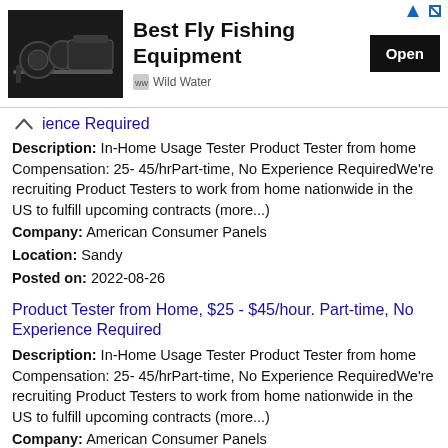[Figure (screenshot): Advertisement banner for 'Best Fly Fishing Equipment' by Wild Water with an Open button]
ience Required
Description: In-Home Usage Tester Product Tester from home Compensation: 25- 45/hrPart-time, No Experience RequiredWe're recruiting Product Testers to work from home nationwide in the US to fulfill upcoming contracts (more...)
Company: American Consumer Panels
Location: Sandy
Posted on: 2022-08-26
Product Tester from Home, $25 - $45/hour. Part-time, No Experience Required
Description: In-Home Usage Tester Product Tester from home Compensation: 25- 45/hrPart-time, No Experience RequiredWe're recruiting Product Testers to work from home nationwide in the US to fulfill upcoming contracts (more...)
Company: American Consumer Panels
Location: Draper
Posted on: 2022-08-26
Sr. Category Manager - Tires
Description: Looking for a company that inspires passion, courage and creativity, where you can be on the team shaping...